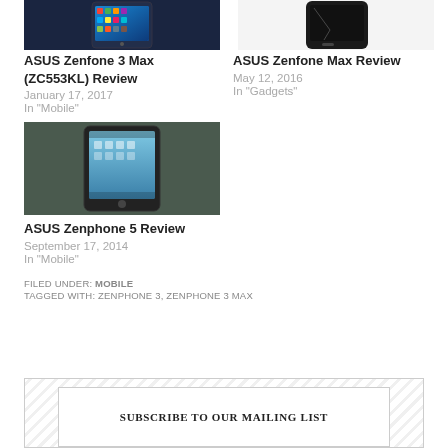[Figure (photo): ASUS Zenfone 3 Max (ZC553KL) smartphone showing home screen with colorful app icons on dark background]
ASUS Zenfone 3 Max (ZC553KL) Review
January 17, 2017
In "Mobile"
[Figure (photo): ASUS Zenfone Max smartphone on white background showing the device from above]
ASUS Zenfone Max Review
May 12, 2016
In "Gadgets"
[Figure (photo): ASUS Zenphone 5 smartphone showing home screen with blue wallpaper on wooden surface]
ASUS Zenphone 5 Review
September 17, 2014
In "Mobile"
FILED UNDER: MOBILE
TAGGED WITH: ZENPHONE 3, ZENPHONE 3 MAX
SUBSCRIBE TO OUR MAILING LIST